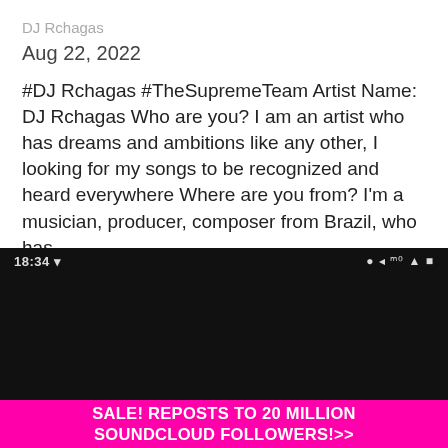DJ Rchagas
Aug 22, 2022
#DJ Rchagas #TheSupremeTeam Artist Name: DJ Rchagas Who are you? I am an artist who has dreams and ambitions like any other, I looking for my songs to be recognized and heard everywhere Where are you from? I'm a musician, producer, composer from Brazil, who has...
[Figure (screenshot): Dark/black smartphone screen with status bar showing time 18:34 and signal/battery icons on the right]
SALE! REPOSTS TO 20 MILLION SOUNDCLOUD FOLLOWERS!>>